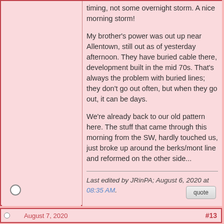timing, not some overnight storm. A nice morning storm!

My brother's power was out up near Allentown, still out as of yesterday afternoon. They have buried cable there, development built in the mid 70s. That's always the problem with buried lines; they don't go out often, but when they go out, it can be days.

We're already back to our old pattern here. The stuff that came through this morning from the SW, hardly touched us, just broke up around the berks/mont line and reformed on the other side...
Last edited by JRinPA; August 6, 2020 at 08:35 AM.
August 7, 2020
#13